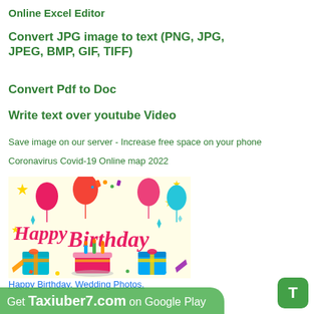Online Excel Editor
Convert JPG image to text (PNG, JPG, JPEG, BMP, GIF, TIFF)
Convert Pdf to Doc
Write text over youtube Video
Save image on our server - Increase free space on your phone
Coronavirus Covid-19 Online map 2022
[Figure (illustration): Happy Birthday colorful greeting card image with balloons, cake, gifts, confetti and script text 'Happy Birthday']
Happy Birthday, Wedding Photos.
Get Taxiuber7.com on Google Play